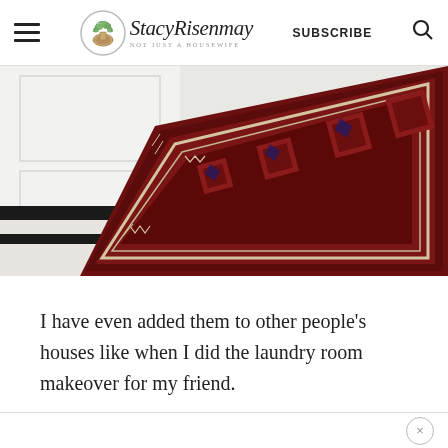StacyRisenmay — Not Just A Housewife | SUBSCRIBE
[Figure (photo): Close-up photo of a dark red/maroon patterned Persian-style runner rug on a black and white tiled or striped floor, with white wall panels visible in the background.]
I have even added them to other people's houses like when I did the laundry room makeover for my friend.